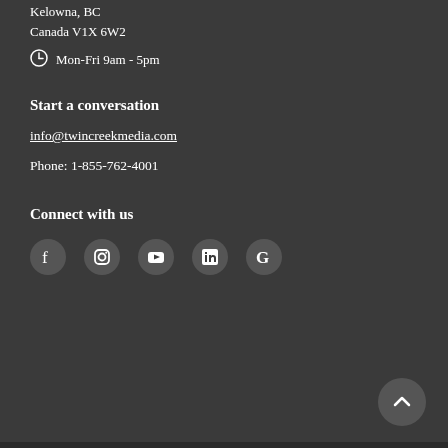Kelowna, BC
Canada V1X 6W2
Mon-Fri 9am - 5pm
Start a conversation
info@twincreekmedia.com
Phone: 1-855-762-4001
Connect with us
[Figure (infographic): Social media icons: Facebook, Instagram, YouTube, LinkedIn, Google]
[Figure (infographic): Back to top arrow button]